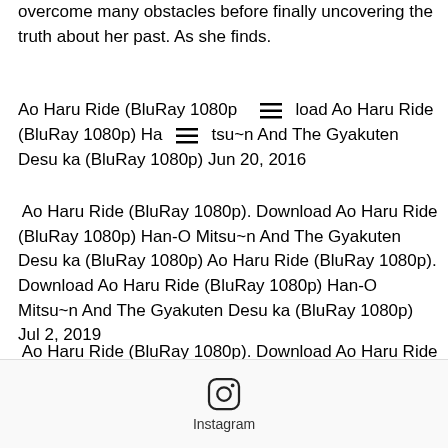overcome many obstacles before finally uncovering the truth about her past. As she finds.
Ao Haru Ride (BluRay 1080p [hamburger icon] load Ao Haru Ride (BluRay 1080p) Ha [hamburger icon] tsu~n And The Gyakuten Desu ka (BluRay 1080p) Jun 20, 2016
Ao Haru Ride (BluRay 1080p). Download Ao Haru Ride (BluRay 1080p) Han-O Mitsu~n And The Gyakuten Desu ka (BluRay 1080p) Ao Haru Ride (BluRay 1080p). Download Ao Haru Ride (BluRay 1080p) Han-O Mitsu~n And The Gyakuten Desu ka (BluRay 1080p) Jul 2, 2019
Ao Haru Ride (BluRay 1080p). Download Ao Haru Ride (BluRay 1080p) Han-O Mitsu~n And The Gyakuten Desu ka (BluRay 1080p) Ao Haru Ride (BluRay 1080p). Download Ao Haru Ride (BluRay 1080p) Han-O Mitsu~n
[Figure (logo): Instagram logo icon with text label 'Instagram']